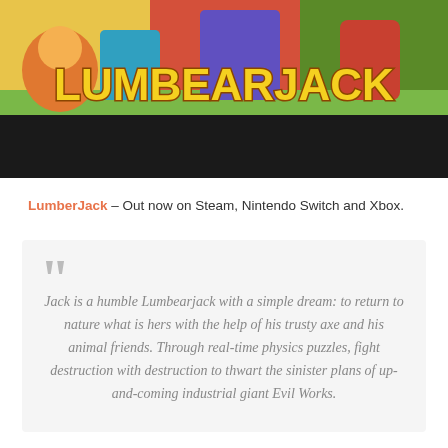[Figure (illustration): Game banner image for LumberJack showing colorful illustrated characters and the game title 'LUMBEARJACK' in bold yellow letters with a dark bar below]
LumberJack – Out now on Steam, Nintendo Switch and Xbox.
Jack is a humble Lumbearjack with a simple dream: to return to nature what is hers with the help of his trusty axe and his animal friends. Through real-time physics puzzles, fight destruction with destruction to thwart the sinister plans of up-and-coming industrial giant Evil Works.